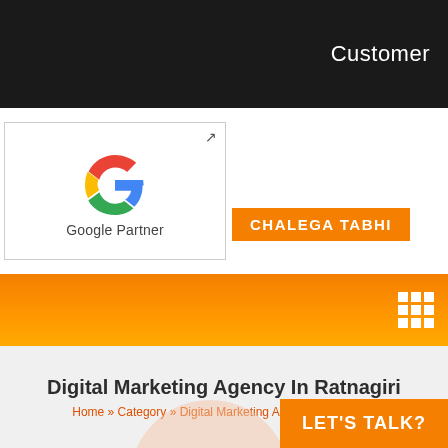Customer
[Figure (logo): Google Partner logo with colored G icon inside a white bordered box]
CHALEGA TABHI
[Figure (other): Orange gradient navigation bar with 3x3 grid icon on the right]
Digital Marketing Agency In Ratnagiri
Home » Category » Digital Marketing Agency in Ratnagiri
LET'S TALK?